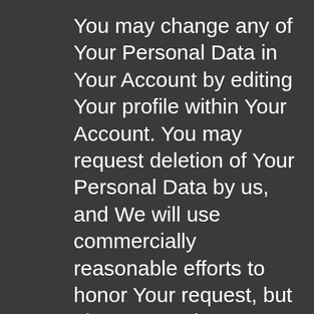You may change any of Your Personal Data in Your Account by editing Your profile within Your Account. You may request deletion of Your Personal Data by us, and We will use commercially reasonable efforts to honor Your request, but please note that We may be required to keep such information and not delete it (or to keep this information for a certain time, in which case We will comply with Your deletion request only after We have fulfilled such requirements). When We delete any information, it will be deleted from